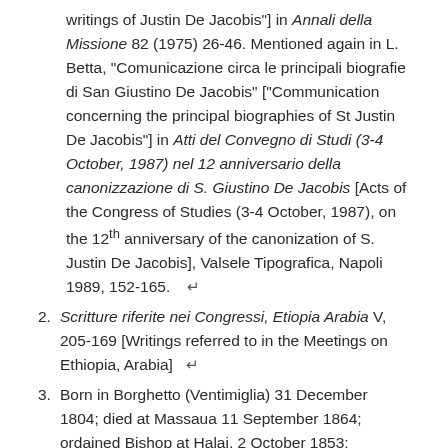writings of Justin De Jacobis"] in Annali della Missione 82 (1975) 26-46. Mentioned again in L. Betta, “Comunicazione circa le principali biografie di San Giustino De Jacobis” [“Communication concerning the principal biographies of St Justin De Jacobis”] in Atti del Convegno di Studi (3-4 October, 1987) nel 12 anniversario della canonizzazione di S. Giustino De Jacobis [Acts of the Congress of Studies (3-4 October, 1987), on the 12th anniversary of the canonization of S. Justin De Jacobis], Valsele Tipografica, Napoli 1989, 152-165.
2. Scritture riferite nei Congressi, Etiopia Arabia V, 205-169 [Writings referred to in the Meetings on Ethiopia, Arabia]
3. Born in Borghetto (Ventimiglia) 31 December 1804; died at Massaua 11 September 1864; ordained Bishop at Halai, 2 October 1853;